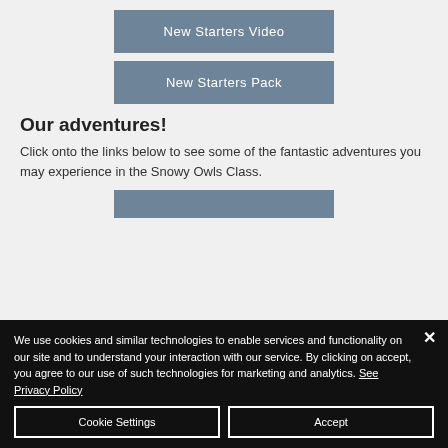[Figure (screenshot): Button labeled 'New Starters Video' with steel blue background]
[Figure (screenshot): Button labeled 'New Starters Pack' with steel blue background]
Our adventures!
Click onto the links below to see some of the fantastic adventures you may experience in the Snowy Owls Class.
[Figure (screenshot): Partial steel blue button visible at bottom of content area]
We use cookies and similar technologies to enable services and functionality on our site and to understand your interaction with our service. By clicking on accept, you agree to our use of such technologies for marketing and analytics. See Privacy Policy
[Figure (screenshot): Cookie Settings and Accept buttons in cookie consent banner]